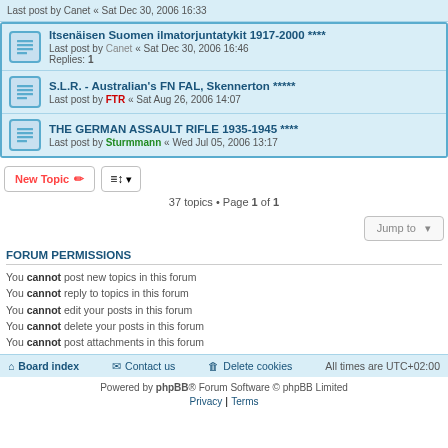Last post by Canet « Sat Dec 30, 2006 16:33
Itsenäisen Suomen ilmatorjuntatykit 1917-2000 **** - Last post by Canet « Sat Dec 30, 2006 16:46 - Replies: 1
S.L.R. - Australian's FN FAL, Skennerton ***** - Last post by FTR « Sat Aug 26, 2006 14:07
THE GERMAN ASSAULT RIFLE 1935-1945 **** - Last post by Sturmmann « Wed Jul 05, 2006 13:17
37 topics • Page 1 of 1
FORUM PERMISSIONS
You cannot post new topics in this forum
You cannot reply to topics in this forum
You cannot edit your posts in this forum
You cannot delete your posts in this forum
You cannot post attachments in this forum
Board index | Contact us | Delete cookies | All times are UTC+02:00
Powered by phpBB® Forum Software © phpBB Limited | Privacy | Terms